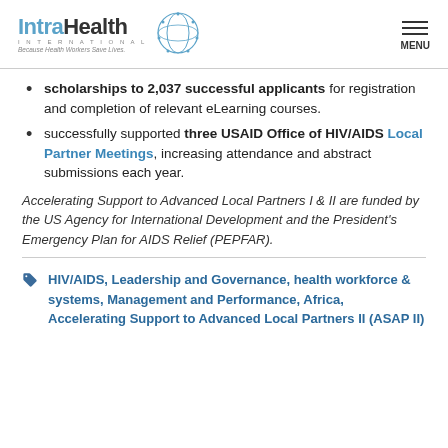IntraHealth International — Because Health Workers Save Lives — MENU
scholarships to 2,037 successful applicants for registration and completion of relevant eLearning courses.
successfully supported three USAID Office of HIV/AIDS Local Partner Meetings, increasing attendance and abstract submissions each year.
Accelerating Support to Advanced Local Partners I & II are funded by the US Agency for International Development and the President's Emergency Plan for AIDS Relief (PEPFAR).
HIV/AIDS, Leadership and Governance, health workforce & systems, Management and Performance, Africa, Accelerating Support to Advanced Local Partners II (ASAP II)